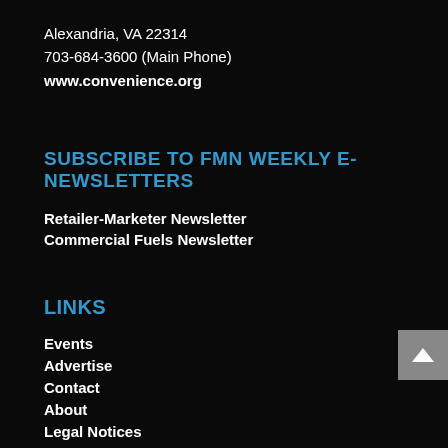Alexandria, VA 22314
703-684-3600 (Main Phone)
www.convenience.org
SUBSCRIBE TO FMN WEEKLY E-NEWSLETTERS
Retailer-Marketer Newsletter
Commercial Fuels Newsletter
LINKS
Events
Advertise
Contact
About
Legal Notices